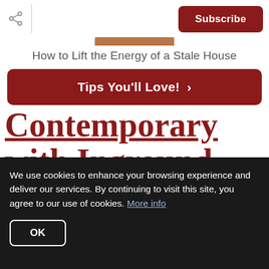Subscribe
[Figure (photo): Partial image strip visible at top center of page]
How to Lift the Energy of a Stale House
Tips You'll Love! ›
Contemporary with Inground Pool on
We use cookies to enhance your browsing experience and deliver our services. By continuing to visit this site, you agree to our use of cookies. More info
OK